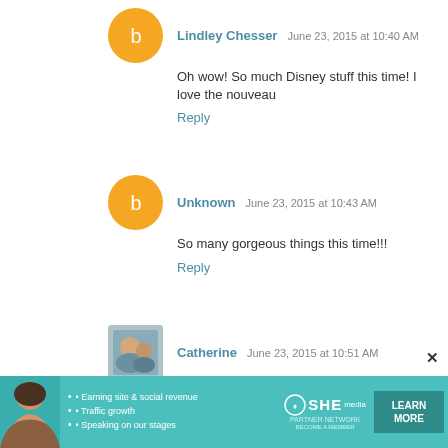Lindley Chesser June 23, 2015 at 10:40 AM
Oh wow! So much Disney stuff this time! I love the nouveau
Reply
Unknown June 23, 2015 at 10:43 AM
So many gorgeous things this time!!!
Reply
Catherine June 23, 2015 at 10:51 AM
My little Big Hero 6 fan would LOVE the baymax and kitty c
Reply
Anonymous June 23, 2015 at 10:59 AM
Maybe this will be my randomly lucky day!
Reply
J, G, and M June 23, 2015 at 11:03 AM
[Figure (other): SHE Partner Network advertisement banner with a woman photo, bullet points about earning site & social revenue, traffic growth, speaking on our stages, SHE logo, and LEARN MORE button]